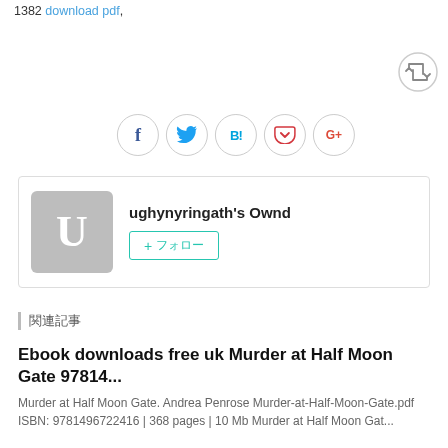1382 download pdf,
[Figure (other): Retweet/share icon button in a circle]
[Figure (other): Social share buttons row: Facebook (f), Twitter bird, Hatena Bookmark (B!), Pocket (pocket icon), Google+ (G+)]
ughynyringath's Ownd
+ フォロー
関連記事
Ebook downloads free uk Murder at Half Moon Gate 97814...
Murder at Half Moon Gate. Andrea Penrose Murder-at-Half-Moon-Gate.pdf ISBN: 9781496722416 | 368 pages | 10 Mb Murder at Half Moon Gat...